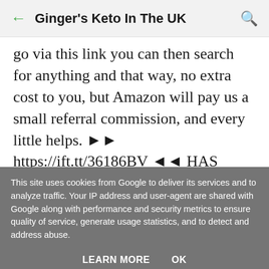Ginger's Keto In The UK
go via this link you can then search for anything and that way, no extra cost to you, but Amazon will pay us a small referral commission, and every little helps. ►► https://ift.tt/36186BV ◄◄ HAS PRODUCT LISTS FOR US & UK, like the Cocoa Butter https://ift.tt/2LzfTwh . BULK POWDERS (anything from electrolytes to zero syrups to
This site uses cookies from Google to deliver its services and to analyze traffic. Your IP address and user-agent are shared with Google along with performance and security metrics to ensure quality of service, generate usage statistics, and to detect and address abuse.
LEARN MORE   OK